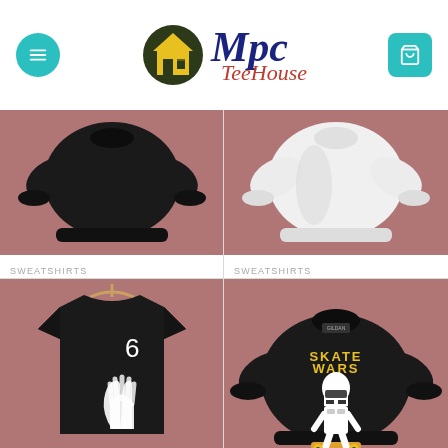Mpc TeeHouse
[Figure (photo): Black sweatshirt on pink/mauve background]
SWEATSHIRTS
Simpson Homer Rolling Fatties Sweatshirt
$25.00 – $25.50
[Figure (photo): White sweatshirt on pink/mauve background]
SWEATSHIRTS
Sixers Philadelphia Sweatshirt On Sale
$25.00 – $28.00
[Figure (photo): Black t-shirt with '6' and praying hands graphic on pink/mauve background]
[Figure (photo): Black sweatshirt with Skate Wars stormtrooper graphic on pink/mauve background]